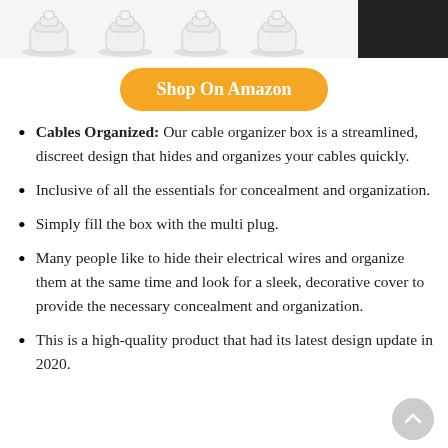[Figure (photo): Top strip showing white cable clip organizers and a dark/black product in the upper right corner]
[Figure (other): Orange rounded button labeled 'Shop On Amazon']
Cables Organized: Our cable organizer box is a streamlined, discreet design that hides and organizes your cables quickly.
Inclusive of all the essentials for concealment and organization.
Simply fill the box with the multi plug.
Many people like to hide their electrical wires and organize them at the same time and look for a sleek, decorative cover to provide the necessary concealment and organization.
This is a high-quality product that had its latest design update in 2020.